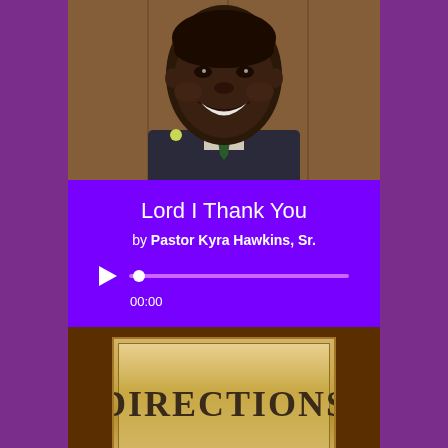[Figure (photo): Portrait photo of a young Black man in a dark suit with a green tie and boutonniere, smiling, with a wood-paneled background]
Lord I Thank You
by Pastor Kyra Hawkins, Sr.
[Figure (screenshot): Audio player widget showing play button, progress bar at start position, and time display showing 00:00]
[Figure (illustration): Book cover showing the word DIRECTIONS in large serif uppercase letters on a golden/tan background]